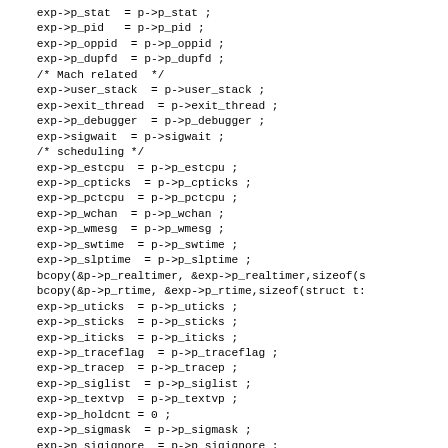exp->p_stat  = p->p_stat ;
exp->p_pid   = p->p_pid ;
exp->p_oppid  = p->p_oppid ;
exp->p_dupfd  = p->p_dupfd ;
/* Mach related  */
exp->user_stack  = p->user_stack ;
exp->exit_thread  = p->exit_thread ;
exp->p_debugger  = p->p_debugger ;
exp->sigwait  = p->sigwait ;
/* scheduling */
exp->p_estcpu  = p->p_estcpu ;
exp->p_cpticks  = p->p_cpticks ;
exp->p_pctcpu  = p->p_pctcpu ;
exp->p_wchan  = p->p_wchan ;
exp->p_wmesg  = p->p_wmesg ;
exp->p_swtime  = p->p_swtime ;
exp->p_slptime  = p->p_slptime ;
bcopy(&p->p_realtimer, &exp->p_realtimer,sizeof(s
bcopy(&p->p_rtime, &exp->p_rtime,sizeof(struct t:
exp->p_uticks  = p->p_uticks ;
exp->p_sticks  = p->p_sticks ;
exp->p_iticks  = p->p_iticks ;
exp->p_traceflag  = p->p_traceflag ;
exp->p_tracep  = p->p_tracep ;
exp->p_siglist  = p->p_siglist ;
exp->p_textvp  = p->p_textvp ;
exp->p_holdcnt = 0 ;
exp->p_sigmask  = p->p_sigmask ;
exp->p_sigignore  = p->p_sigignore ;
exp->p_sigcatch  = p->p_sigcatch ;